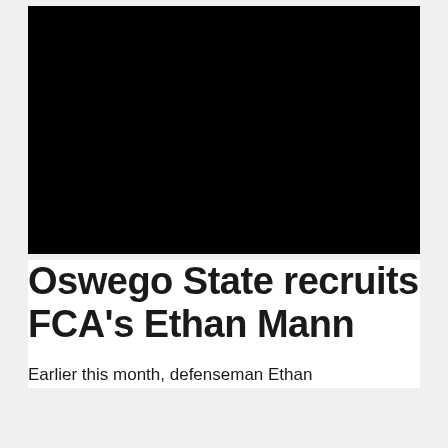[Figure (photo): A black rectangular photo placeholder, fully black image area at the top of the page.]
Oswego State recruits FCA's Ethan Mann
Earlier this month, defenseman Ethan